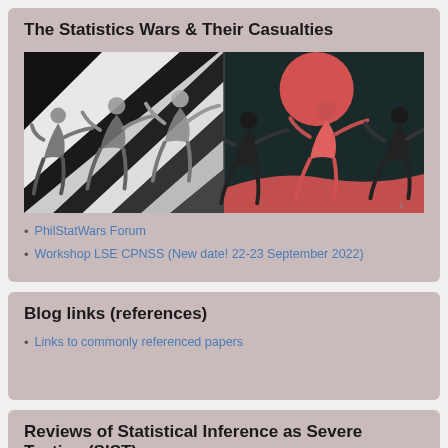The Statistics Wars & Their Casualties
[Figure (illustration): Artistic painting split into two halves — left side monochrome black/white/grey showing stylized figures in dynamic motion, right side with warm reddish-pink tones showing figures running against a dark background with a large red circle (sun).]
PhilStatWars Forum
Workshop LSE CPNSS (New date! 22-23 September 2022)
Blog links (references)
Links to commonly referenced papers
Reviews of Statistical Inference as Severe Testing (SIST)